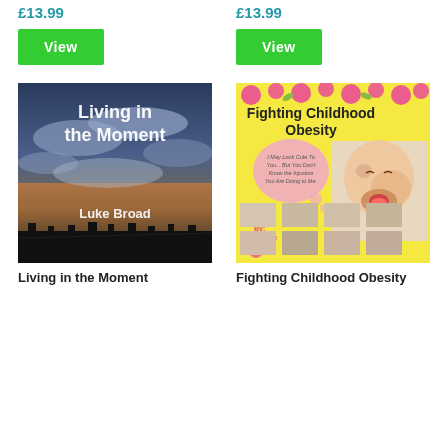£13.99
£13.99
View
View
[Figure (photo): Book cover: Living in the Moment by Luke Broad — dramatic sky with clouds and silhouetted trees at sunset, white bold text]
[Figure (photo): Book cover: Fighting Childhood Obesity — yellow background with pink flowers, baby photo, speech bubble, thumbnail photos of children]
Living in the Moment
Fighting Childhood Obesity